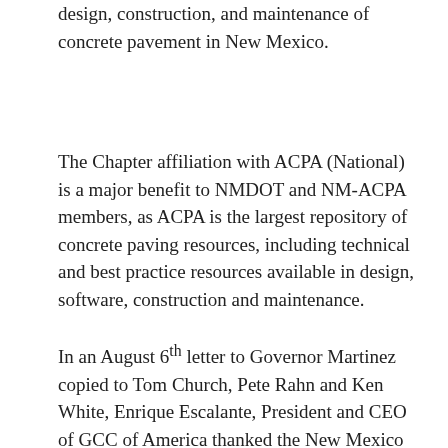design, construction, and maintenance of concrete pavement in New Mexico.
The Chapter affiliation with ACPA (National) is a major benefit to NMDOT and NM-ACPA members, as ACPA is the largest repository of concrete paving resources, including technical and best practice resources available in design, software, construction and maintenance.
In an August 6th letter to Governor Martinez copied to Tom Church, Pete Rahn and Ken White, Enrique Escalante, President and CEO of GCC of America thanked the New Mexico Transportation policy leadership team for the adoption of Commission policy